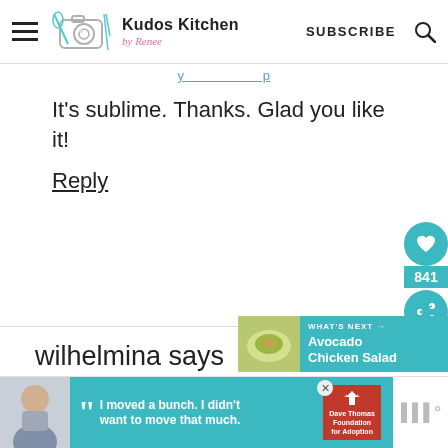Kudos Kitchen by Renee | SUBSCRIBE
It's sublime. Thanks. Glad you like it!
Reply
wilhelmina says
May 19, 2019 at 11:30 am
[Figure (screenshot): What's next overlay showing Avocado Chicken Salad with a teal background]
[Figure (infographic): Advertisement banner: Dave Thomas Foundation for Adoption quote 'I moved a bunch. I didn't want to move that much.']